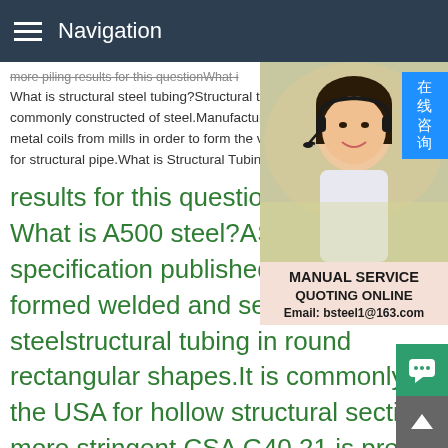Navigation
more piling results for this questionWhat is structural steel tubing?Structural tubing is commonly constructed of steel.Manufacturers take metal coils from mills in order to form the walls for structural pipe.What is Structural Tubing
results for this questionWhat is A500 steel?ASTM A500 is a specification published by the ASTM for cold-formed welded and seamless carbon steelstructural tubing in round, square, and rectangular shapes.It is commonly specified in the USA for hollow structural sections,but the more stringent CSA G40.21 is preferred in Canada.Another related standard is ASTM A501,which is a hot-formed version of this A500.ASTM A500 - Wikipedia,the free encyclopedia results for this
[Figure (photo): Customer service agent photo — woman with headset smiling, with Chinese text overlay button reading 在线咨询 (online consultation) in blue, and a service panel below showing MANUAL SERVICE, QUOTING ONLINE, Email: bsteel1@163.com]